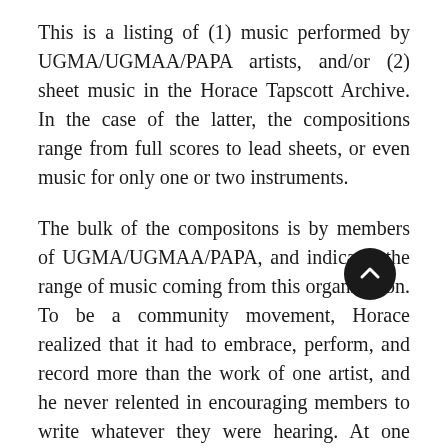This is a listing of (1) music performed by UGMA/UGMAA/PAPA artists, and/or (2) sheet music in the Horace Tapscott Archive. In the case of the latter, the compositions range from full scores to lead sheets, or even music for only one or two instruments.
The bulk of the compositons is by members of UGMA/UGMAA/PAPA, and indicates the range of music coming from this organization. To be a community movement, Horace realized that it had to embrace, perform, and record more than the work of one artist, and he never relented in encouraging members to write whatever they were hearing. At one point he had a large ch that contained compositions and he encouraged everyone to contribute. An ambition of most was to offer at least one piece to this treasure chest.